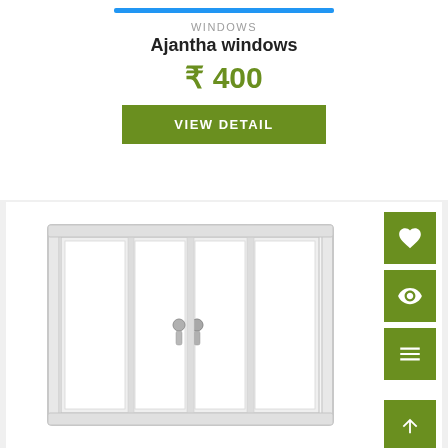WINDOWS
Ajantha windows
₹ 400
VIEW DETAIL
[Figure (photo): White UPVC sliding window with three panels, handles visible on center panels, shown against white background. Side action buttons: heart/favourite, eye/view, menu/list, and up-arrow icons on green backgrounds.]